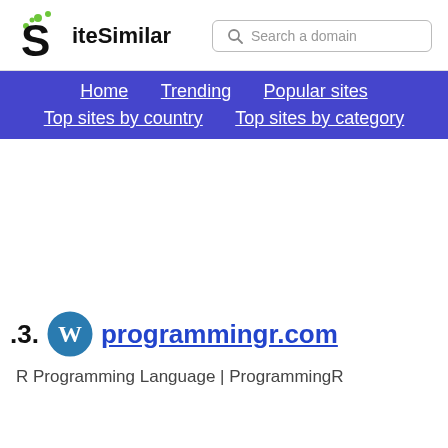SiteSimilar — Search a domain
Home
Trending
Popular sites
Top sites by country
Top sites by category
3. programmingr.com
R Programming Language | ProgrammingR